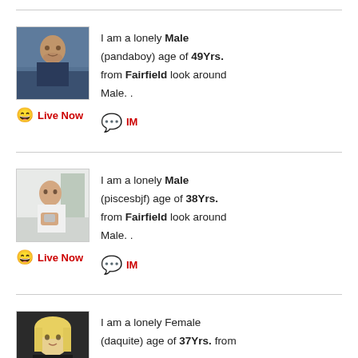[Figure (photo): Profile photo of a male user (pandaboy), man in dark shirt indoors]
I am a lonely Male (pandaboy) age of 49Yrs. from Fairfield look around Male. .
Live Now  IM
[Figure (photo): Profile photo of a male user (piscesbjf), man in white shirt]
I am a lonely Male (piscesbjf) age of 38Yrs. from Fairfield look around Male. .
Live Now  IM
[Figure (photo): Profile photo of a female user (daquite), blonde woman]
I am a lonely Female (daquite) age of 37Yrs. from